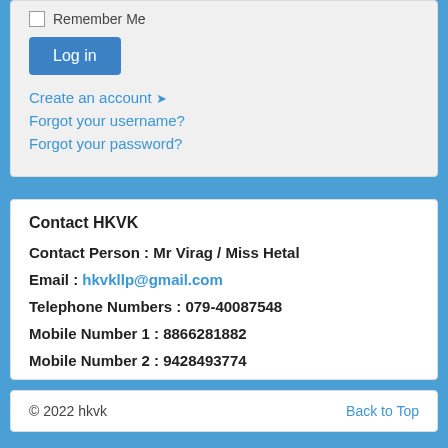Remember Me
Log in
Create an account ❯
Forgot your username?
Forgot your password?
Contact HKVK
Contact Person : Mr Virag / Miss Hetal
Email : hkvkllp@gmail.com
Telephone Numbers : 079-40087548
Mobile Number 1 : 8866281882
Mobile Number 2 : 9428493774
© 2022 hkvk    Back to Top